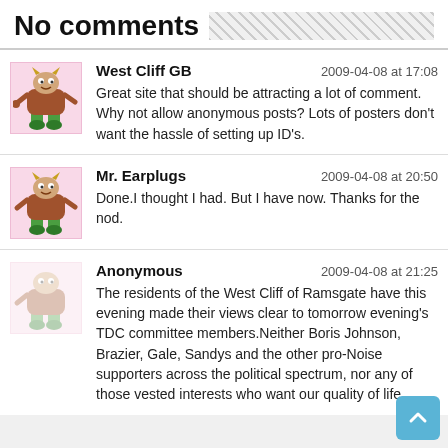No comments
West Cliff GB
2009-04-08 at 17:08
Great site that should be attracting a lot of comment. Why not allow anonymous posts? Lots of posters don't want the hassle of setting up ID's.
Mr. Earplugs
2009-04-08 at 20:50
Done.I thought I had. But I have now. Thanks for the nod.
Anonymous
2009-04-08 at 21:25
The residents of the West Cliff of Ramsgate have this evening made their views clear to tomorrow evening's TDC committee members.Neither Boris Johnson, Brazier, Gale, Sandys and the other pro-Noise supporters across the political spectrum, nor any of those vested interests who want our quality of life...